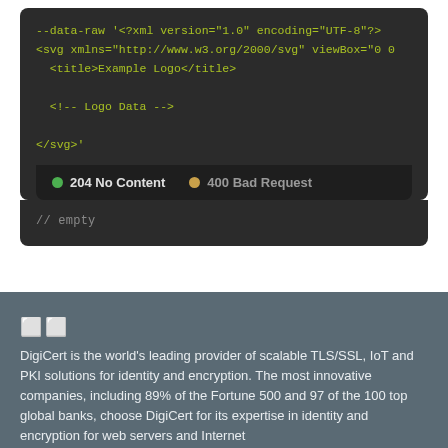[Figure (screenshot): Dark-themed code block showing XML/SVG data-raw curl command with syntax highlighting in green/yellow. Shows --data-raw with XML declaration, SVG tag with xmlns and viewBox attributes, title element 'Example Logo', XML comment 'Logo Data', and closing SVG tag. Below the code is a status bar showing '204 No Content' with green dot and '400 Bad Request' with orange dot. A response area shows '// empty' in gray.]
DigiCert is the world's leading provider of scalable TLS/SSL, IoT and PKI solutions for identity and encryption. The most innovative companies, including 89% of the Fortune 500 and 97 of the 100 top global banks, choose DigiCert for its expertise in identity and encryption for web servers and Internet